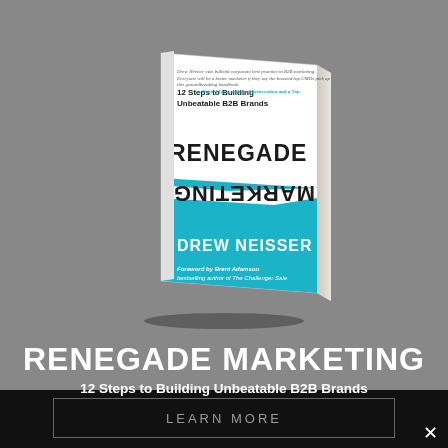[Figure (photo): Book cover of 'Renegade Marketing: 12 Steps to Building Unbeatable B2B Brands' by Drew Neisser, shown in a slightly tilted perspective. The cover is white and teal/cyan colored with the title text shown both right-side up and upside down. The bottom portion is a teal triangle with the author's name. Foreword by Brent Adamson, bestselling author of The Challenger Sale.]
RENEGADE MARKETING
12 Steps to Building Unbeatable B2B Brands
LEARN MORE